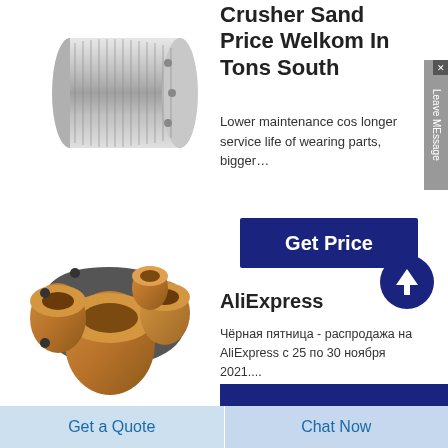[Figure (photo): Metallic cylindrical crusher shaft/spindle part with threaded surface]
Crusher Sand Price Welkom In Tons South
Lower maintenance cos longer service life of wearing parts, bigger…
[Figure (other): Get Price button in dark navy blue]
[Figure (photo): Bronze/copper crusher bushings and bearing components]
AliExpress
Чёрная пятница - распродажа на AliExpress с 25 по 30 ноября 2021....
Get a Quote
Chat Now